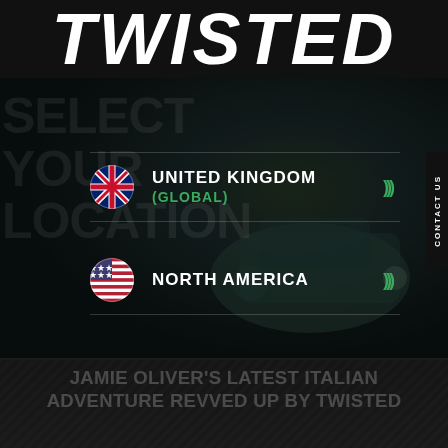TWISTED
[Figure (screenshot): Dark background with a vintage car image (Defender/Land Rover style) partially visible on the right, dark green/teal tones]
SELECT YOUR LOCATION
UNITED KINGDOM (GLOBAL)
NORTH AMERICA
JAMIE OLIVER'S LATEST ITALIAN ADVENTURE REVVED UP BY TWISTED
CONTACT US